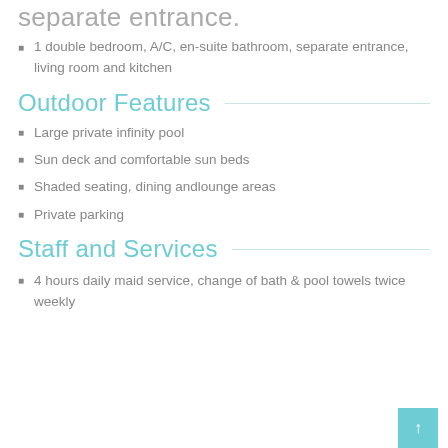separate entrance.
1 double bedroom, A/C, en-suite bathroom, separate entrance, living room and kitchen
Outdoor Features
Large private infinity pool
Sun deck and comfortable sun beds
Shaded seating, dining andlounge areas
Private parking
Staff and Services
4 hours daily maid service, change of bath & pool towels twice weekly